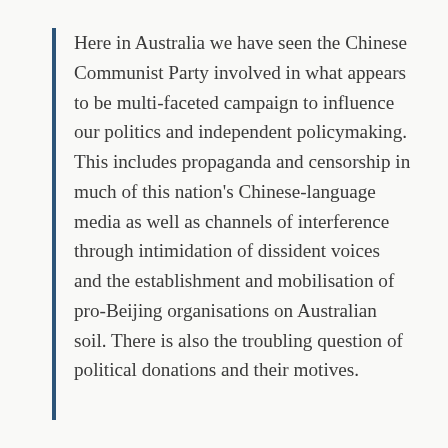Here in Australia we have seen the Chinese Communist Party involved in what appears to be multi-faceted campaign to influence our politics and independent policymaking. This includes propaganda and censorship in much of this nation's Chinese-language media as well as channels of interference through intimidation of dissident voices and the establishment and mobilisation of pro-Beijing organisations on Australian soil. There is also the troubling question of political donations and their motives.